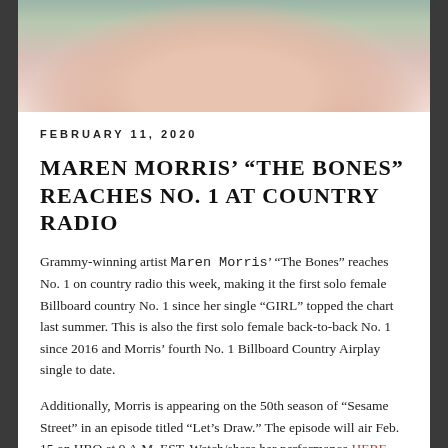[Figure (photo): Partial photo of Maren Morris, a blonde woman, shown from neck up against a floral background]
FEBRUARY 11, 2020
MAREN MORRIS' “THE BONES” REACHES NO. 1 AT COUNTRY RADIO
Grammy-winning artist Maren Morris’ “The Bones” reaches No. 1 on country radio this week, making it the first solo female Billboard country No. 1 since her single “GIRL” topped the chart last summer. This is also the first solo female back-to-back No. 1 since 2016 and Morris’ fourth No. 1 Billboard Country Airplay single to date.
Additionally, Morris is appearing on the 50th season of “Sesame Street” in an episode titled “Let’s Draw.” The episode will air Feb. 15 on HBO at 9 A.M. EST. Watch/share her performance HERE.